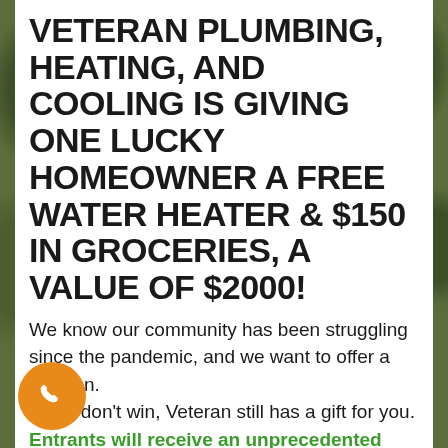VETERAN PLUMBING, HEATING, AND COOLING IS GIVING ONE LUCKY HOMEOWNER A FREE WATER HEATER & $150 IN GROCERIES, A VALUE OF $2000!
We know our community has been struggling since the pandemic, and we want to offer a solution. If you don't win, Veteran still has a gift for you. Entrants will receive an unprecedented 10% discount on all services booked within 60 days.
[Figure (illustration): Orange circular button with white phone/call icon]